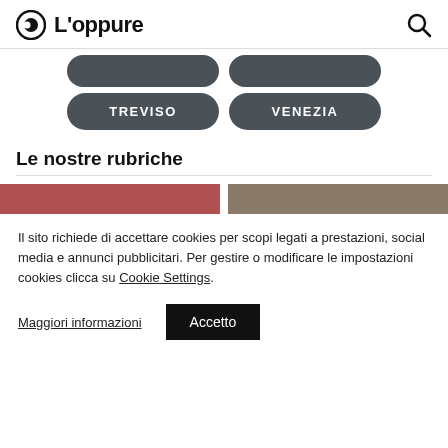L'oppure
[Figure (other): Two dark rounded pill-shaped city navigation buttons, partially visible at top: two partial buttons cropped]
[Figure (other): Two dark rounded pill-shaped city navigation buttons labeled TREVISO and VENEZIA]
Le nostre rubriche
[Figure (other): Two colored horizontal strips: left strip in muted red/terracotta, right strip in muted brown/taupe]
Il sito richiede di accettare cookies per scopi legati a prestazioni, social media e annunci pubblicitari. Per gestire o modificare le impostazioni cookies clicca su Cookie Settings.
Maggiori informazioni
Accetto